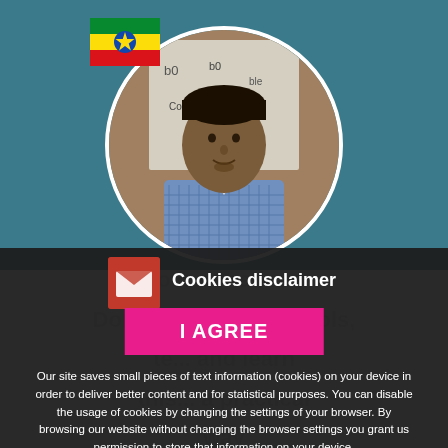[Figure (photo): Profile photo of a man in a blue checkered shirt, shown in a circular crop, with an Ethiopian flag overlay in the top-left corner. Background shows a teal/blue color.]
Cookies disclaimer
I AGREE
Our site saves small pieces of text information (cookies) on your device in order to deliver better content and for statistical purposes. You can disable the usage of cookies by changing the settings of your browser. By browsing our website without changing the browser settings you grant us permission to store that information on your device.